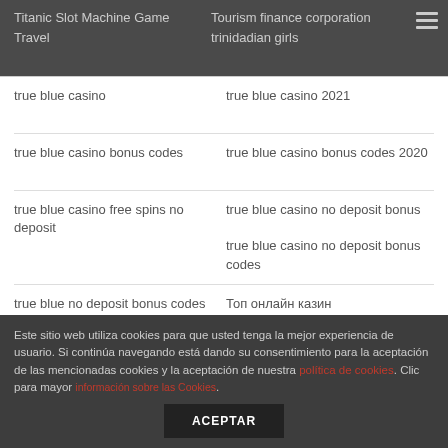Titanic Slot Machine Game
Travel
Tourism finance corporation
trinidadian girls
true blue casino
true blue casino 2021
true blue casino bonus codes
true blue casino bonus codes 2020
true blue casino free spins no deposit
true blue casino no deposit bonus
true blue casino no deposit bonus codes
true blue no deposit bonus codes
Топ онлайн казин
ukraine women for marriage
Uncategorized
Uncaterqorized
unique casino germany
Este sitio web utiliza cookies para que usted tenga la mejor experiencia de usuario. Si continúa navegando está dando su consentimiento para la aceptación de las mencionadas cookies y la aceptación de nuestra política de cookies. Clic para mayor información sobre las Cookies. ACEPTAR